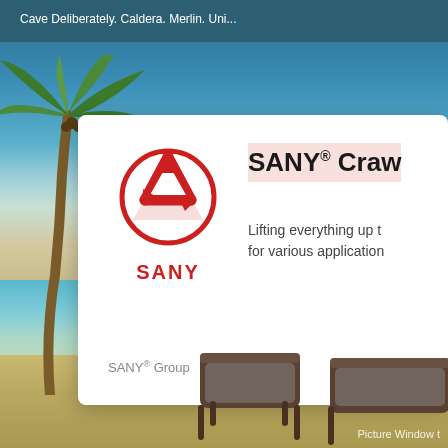Cave Deliberately. Caldera. Merlin. Uni...
[Figure (screenshot): SANY Group product card overlay on a tropical beach background with palm trees, ocean, sandy beach, and lounge chairs. The card shows the SANY logo (red circle with triangular arrow symbol) and partial text 'SANY® Craw' with description 'Lifting everything up t... for various application...' and company name 'SANY® Group'.]
SANY® Craw
Lifting everything up t... for various application...
SANY® Group
Picture Window t...